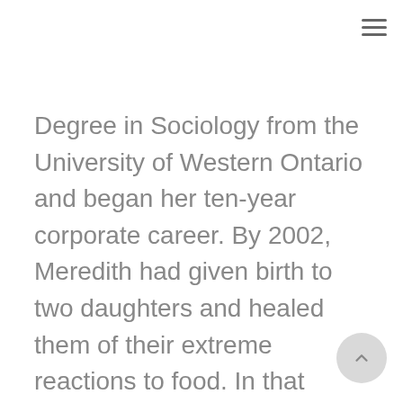≡
Degree in Sociology from the University of Western Ontario and began her ten-year corporate career. By 2002, Meredith had given birth to two daughters and healed them of their extreme reactions to food. In that same year, she started her own company, “The Resourceful Mother”, specializing in connecting families to health and happiness. Meredith is a Registered Holistic Nutritionist™ professional, graduating from the